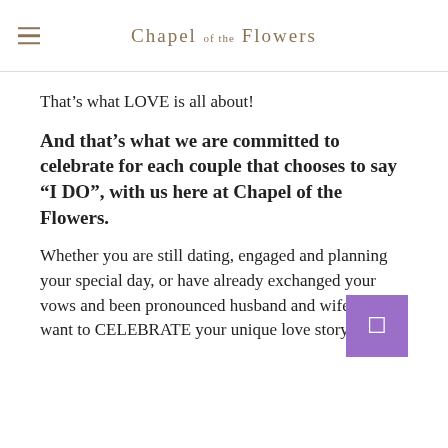Chapel of the Flowers
That’s what LOVE is all about!
And that’s what we are committed to celebrate for each couple that chooses to say “I DO”, with us here at Chapel of the Flowers.
Whether you are still dating, engaged and planning your special day, or have already exchanged your vows and been pronounced husband and wife we want to CELEBRATE your unique love story.